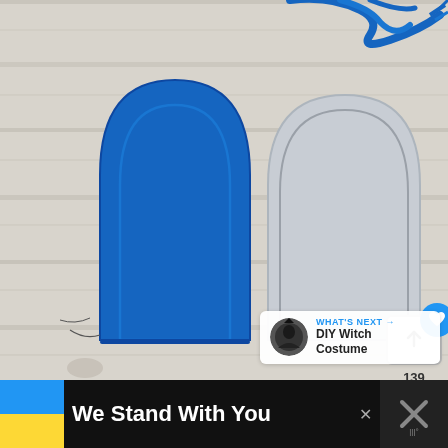[Figure (photo): Two mitt/slipper-shaped fabric pieces on a white wooden background. Left piece is bright blue felt/foam, right piece is light grey fabric. Both have stitched outlines. Blue yarn/ribbon visible at top. A social media interface overlay shows a heart/like button (blue circle, count 139), a save icon in a box, and a share button.]
WHAT'S NEXT → DIY Witch Costume
We Stand With You